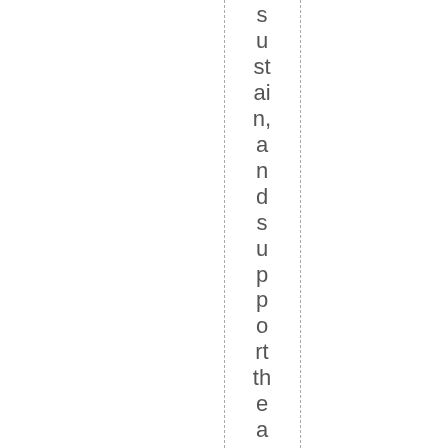sustain, and support the arts in America